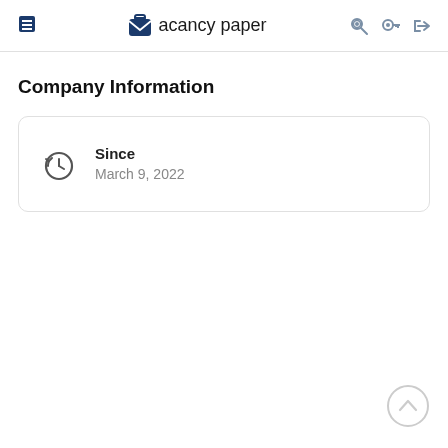Vacancy paper
Company Information
Since
March 9, 2022